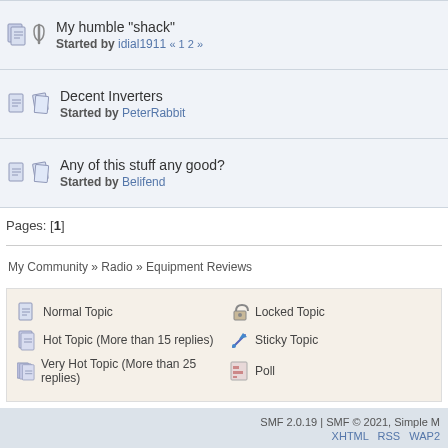My humble "shack" — Started by idial1911 « 1 2 »
Decent Inverters — Started by PeterRabbit
Any of this stuff any good? — Started by Belifend
Pages: [1]
My Community » Radio » Equipment Reviews
Normal Topic | Hot Topic (More than 15 replies) | Very Hot Topic (More than 25 replies) | Locked Topic | Sticky Topic | Poll
SMF 2.0.19 | SMF © 2021, Simple M   XHTML   RSS   WAP2